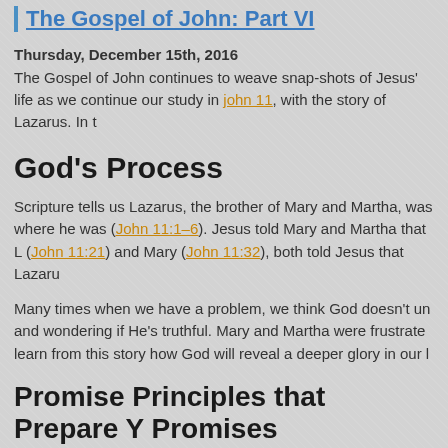The Gospel of John: Part VI
Thursday, December 15th, 2016
The Gospel of John continues to weave snap-shots of Jesus' life as we continue our study in john 11, with the story of Lazarus. In t
God's Process
Scripture tells us Lazarus, the brother of Mary and Martha, was where he was (John 11:1–6). Jesus told Mary and Martha that L (John 11:21) and Mary (John 11:32), both told Jesus that Lazaru
Many times when we have a problem, we think God doesn't un and wondering if He's truthful. Mary and Martha were frustrate learn from this story how God will reveal a deeper glory in our l
Promise Principles that Prepare Y Promises
God's Timing is Different than Ours